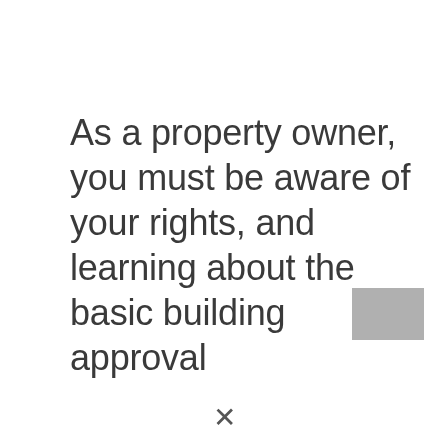As a property owner, you must be aware of your rights, and learning about the basic building approval